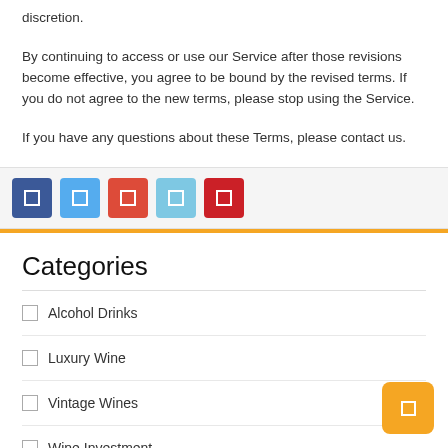discretion.
By continuing to access or use our Service after those revisions become effective, you agree to be bound by the revised terms. If you do not agree to the new terms, please stop using the Service.
If you have any questions about these Terms, please contact us.
[Figure (infographic): Social media sharing buttons: Facebook (dark blue), Twitter (light blue), Google+ (orange-red), LinkedIn (light blue), Pinterest (red)]
Categories
Alcohol Drinks
Luxury Wine
Vintage Wines
Wine Investment
Wine Production